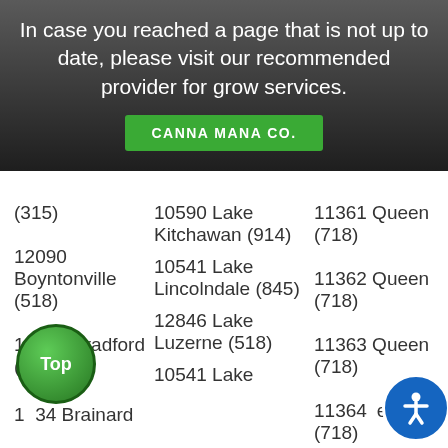In case you reached a page that is not up to date, please visit our recommended provider for grow services.
CANNA MANA CO.
(315)
10590 Lake Kitchawan (914)
11361 Queens (718)
12090 Boyntonville (518)
10541 Lake Lincolndale (845)
11362 Queens (718)
14815 Bradford (607)
11363 Queens (718)
12834 Brainard
12846 Lake Luzerne (518)
11364 Queens (718)
12915
10541 Lake